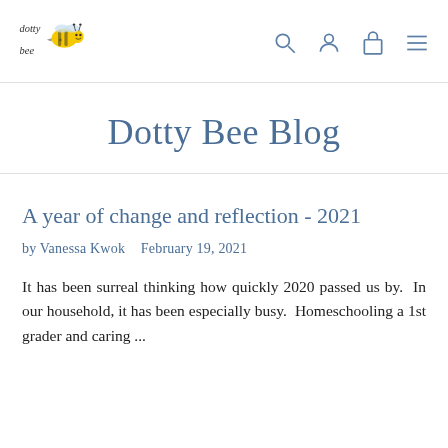[Figure (logo): Dotty Bee logo — cartoon bee with text 'dotty bee' in handwritten style, yellow and black bee illustration]
Dotty Bee Blog
A year of change and reflection - 2021
by Vanessa Kwok   February 19, 2021
It has been surreal thinking how quickly 2020 passed us by.  In our household, it has been especially busy.  Homeschooling a 1st grader and caring ...